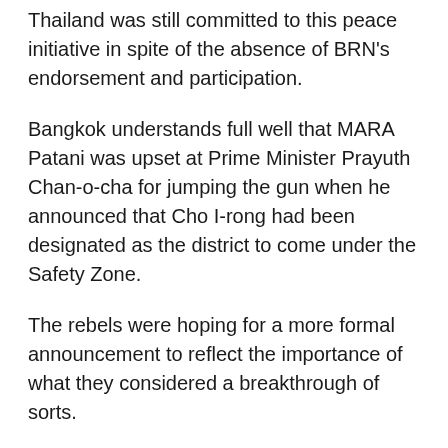Thailand was still committed to this peace initiative in spite of the absence of BRN's endorsement and participation.
Bangkok understands full well that MARA Patani was upset at Prime Minister Prayuth Chan-o-cha for jumping the gun when he announced that Cho I-rong had been designated as the district to come under the Safety Zone.
The rebels were hoping for a more formal announcement to reflect the importance of what they considered a breakthrough of sorts.
It was not clear if Prayuth had breached the protocol on purpose or that he wasn't thinking. Regardless, Bangkok never liked the idea of giving MARA Patani or any other separatist entity from the Malay-speaking South any kind of legitimacy or recognition if it didn't have to. The fact that the government has sent a team of negotiators to meet with them is all the legitimacy they are going to get.